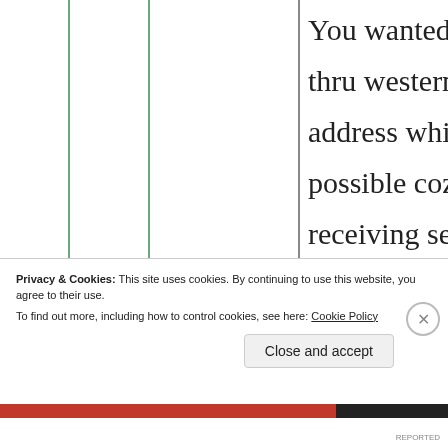You wanted me to send thru western union to yiur address which was not possible coz in India only receiving services I inquired all most all the cities. You suggested to send thry courier it was impossible n illegal. All these impossible ways you wanted me vo use
Privacy & Cookies: This site uses cookies. By continuing to use this website, you agree to their use.
To find out more, including how to control cookies, see here: Cookie Policy